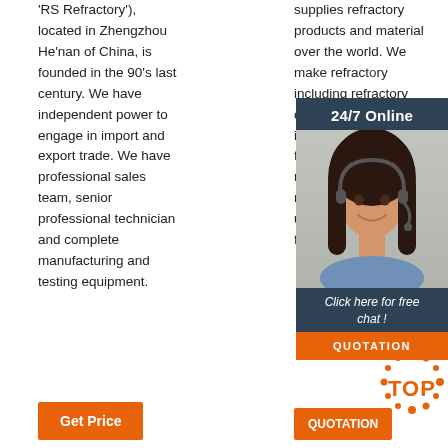'RS Refractory'), located in Zhengzhou He'nan of China, is founded in the 90's last century. We have independent power to engage in import and export trade. We have professional sales team, senior professional technician and complete manufacturing and testing equipment.
supplies refractory products and material over the world. We make refractory including refractory castable, tundish, insulation refractory, fiber products, magnesia refractory, refractory, refractory which are used in EAF, blast furnace, ladle, tundish ...
[Figure (photo): Customer service representative with headset smiling, shown inside a dark blue chat widget with '24/7 Online' header and 'Click here for free chat!' text, with QUOTATION orange button]
[Figure (logo): TOP badge logo with orange dots]
Get Price
QUOTATION